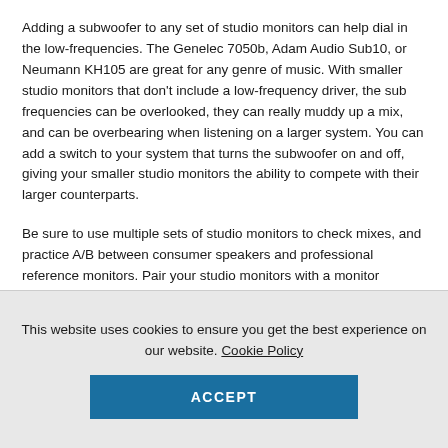Adding a subwoofer to any set of studio monitors can help dial in the low-frequencies. The Genelec 7050b, Adam Audio Sub10, or Neumann KH105 are great for any genre of music. With smaller studio monitors that don't include a low-frequency driver, the sub frequencies can be overlooked, they can really muddy up a mix, and can be overbearing when listening on a larger system. You can add a switch to your system that turns the subwoofer on and off, giving your smaller studio monitors the ability to compete with their larger counterparts.
Be sure to use multiple sets of studio monitors to check mixes, and practice A/B between consumer speakers and professional reference monitors. Pair your studio monitors with a monitor management system such as the Dangerous Music Monitor ST, or the Mackie Big Knob, to make switching between sets of speakers or bypassing subwoofers easy.
This website uses cookies to ensure you get the best experience on our website. Cookie Policy
ACCEPT